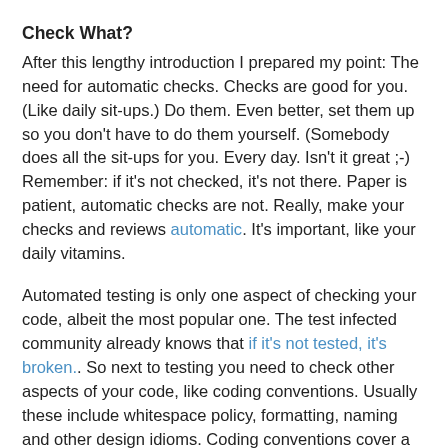Check What?
After this lengthy introduction I prepared my point: The need for automatic checks. Checks are good for you. (Like daily sit-ups.) Do them. Even better, set them up so you don't have to do them yourself. (Somebody does all the sit-ups for you. Every day. Isn't it great ;-) Remember: if it's not checked, it's not there. Paper is patient, automatic checks are not. Really, make your checks and reviews automatic. It's important, like your daily vitamins.
Automated testing is only one aspect of checking your code, albeit the most popular one. The test infected community already knows that if it's not tested, it's broken.. So next to testing you need to check other aspects of your code, like coding conventions. Usually these include whitespace policy, formatting, naming and other design idioms. Coding conventions cover a much broader area than most people think. They are not only about naming. They are also about higher level boiler plate code, e.g. how to handle transactions, how to access the database, how to log, how to handle exceptions, etc. These things are project specific and